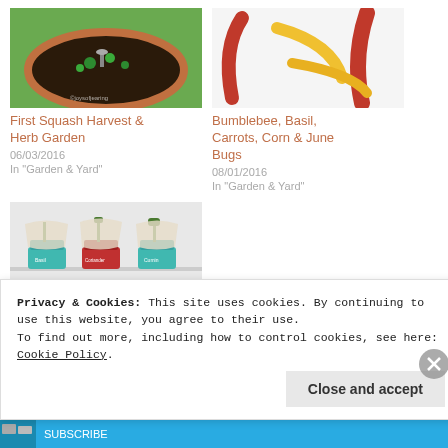[Figure (photo): Circular garden bed with brick edging, fountain, and plants on green grass]
First Squash Harvest & Herb Garden
06/03/2016
In "Garden & Yard"
[Figure (illustration): Colorful illustrated carrots and banana-shaped vegetables in red, yellow and orange on white background]
Bumblebee, Basil, Carrots, Corn & June Bugs
08/01/2016
In "Garden & Yard"
[Figure (photo): Three small potted plants with fabric covers in turquoise, red, and teal pots on white shelving]
Privacy & Cookies: This site uses cookies. By continuing to use this website, you agree to their use.
To find out more, including how to control cookies, see here: Cookie Policy
Close and accept